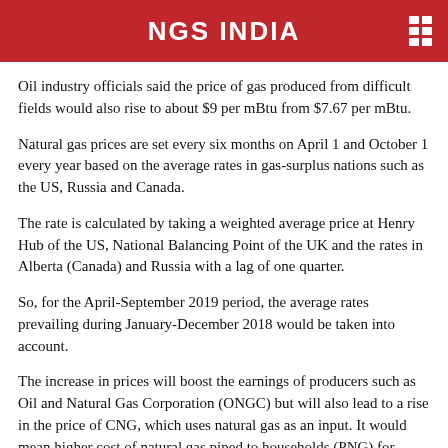NGS INDIA
Oil industry officials said the price of gas produced from difficult fields would also rise to about $9 per mBtu from $7.67 per mBtu.
Natural gas prices are set every six months on April 1 and October 1 every year based on the average rates in gas-surplus nations such as the US, Russia and Canada.
The rate is calculated by taking a weighted average price at Henry Hub of the US, National Balancing Point of the UK and the rates in Alberta (Canada) and Russia with a lag of one quarter.
So, for the April-September 2019 period, the average rates prevailing during January-December 2018 would be taken into account.
The increase in prices will boost the earnings of producers such as Oil and Natural Gas Corporation (ONGC) but will also lead to a rise in the price of CNG, which uses natural gas as an input. It would mean higher cost of natural gas piped to households (PNG) for cooking purposes as well as of